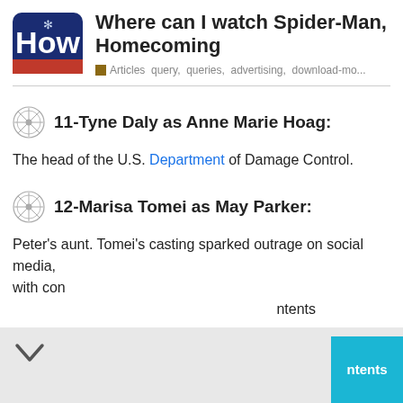Where can I watch Spider-Man, Homecoming
Articles  query,  queries,  advertising,  download-mo...
11-Tyne Daly as Anne Marie Hoag:
The head of the U.S. Department of Damage Control.
12-Marisa Tomei as May Parker:
Peter's aunt. Tomei's casting sparked outrage on social media, with con... gorgeous...